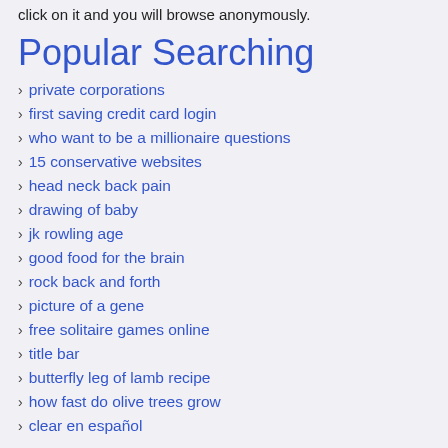click on it and you will browse anonymously.
Popular Searching
private corporations
first saving credit card login
who want to be a millionaire questions
15 conservative websites
head neck back pain
drawing of baby
jk rowling age
good food for the brain
rock back and forth
picture of a gene
free solitaire games online
title bar
butterfly leg of lamb recipe
how fast do olive trees grow
clear en español